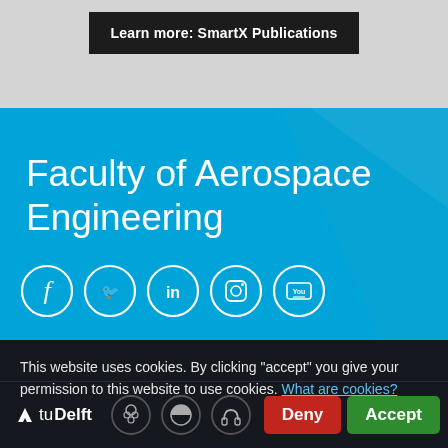Learn more: SmartX Publications
Faculty of Aerospace Engineering
[Figure (other): Social media icons: Facebook, Twitter, LinkedIn, Instagram, YouTube — white circle outlines on blue background]
This website uses cookies. By clicking "accept" you give your permission to this website to use cookies. What are cookies?
th Netherlands
Tel: +31 15 27 89804
[Figure (logo): TU Delft logo with cookie settings icons (cookie, contrast, headphones) and Deny / Accept buttons]